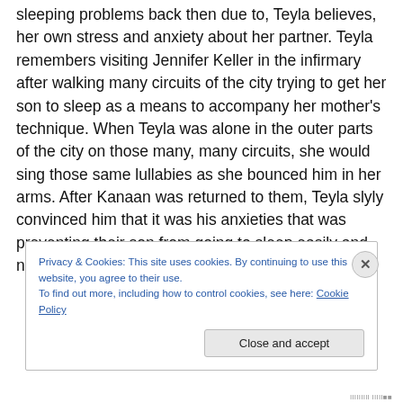sleeping problems back then due to, Teyla believes, her own stress and anxiety about her partner. Teyla remembers visiting Jennifer Keller in the infirmary after walking many circuits of the city trying to get her son to sleep as a means to accompany her mother's technique. When Teyla was alone in the outer parts of the city on those many, many circuits, she would sing those same lullabies as she bounced him in her arms. After Kanaan was returned to them, Teyla slyly convinced him that it was his anxieties that was preventing their son from going to sleep easily and not her own. In truth, it is both their
Privacy & Cookies: This site uses cookies. By continuing to use this website, you agree to their use.
To find out more, including how to control cookies, see here: Cookie Policy
Close and accept